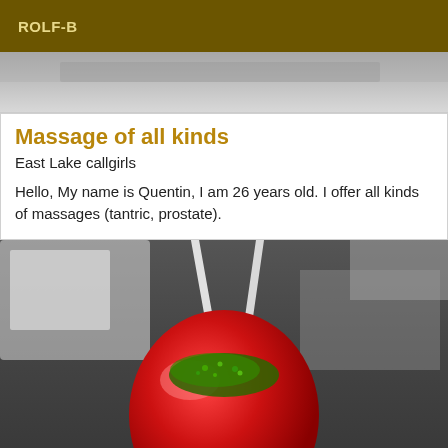ROLF-B
[Figure (photo): Partial top view of a blurred background, appears to be a table surface, greyscale]
Massage of all kinds
East Lake callgirls
Hello, My name is Quentin, I am 26 years old. I offer all kinds of massages (tantric, prostate).
[Figure (photo): A red ceramic or candy apple with green sprinkles, with sticks/straws, on a table in a blurred background setting]